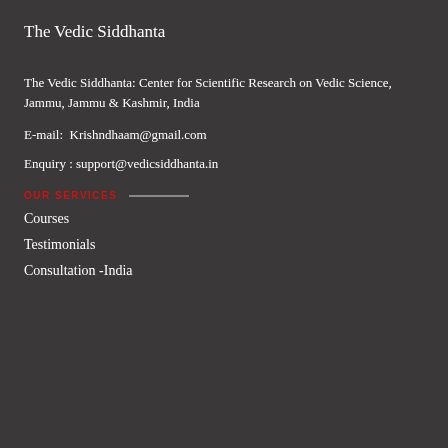The Vedic Siddhanta
The Vedic Siddhanta: Center for Scientific Research on Vedic Science, Jammu, Jammu & Kashmir, India
E-mail:  Krishndhaam@gmail.com
Enquiry : support@vedicsiddhanta.in
OUR SERVICES
Courses
Testimonials
Consultation -India